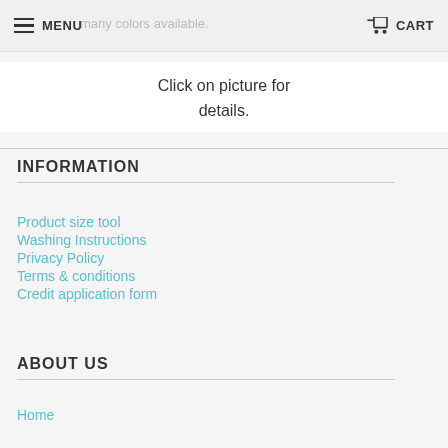MENU    CART
many colors available.
Click on picture for details.
INFORMATION
Product size tool
Washing Instructions
Privacy Policy
Terms & conditions
Credit application form
ABOUT US
Home